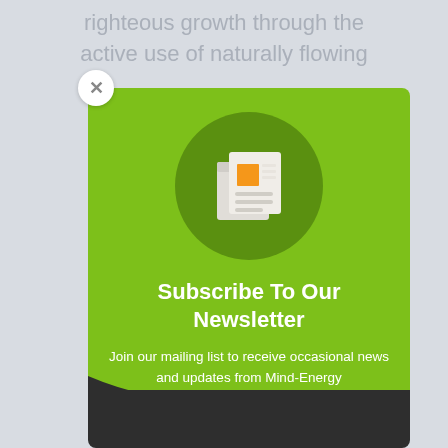righteous growth through the active use of naturally flowing
[Figure (illustration): Newsletter subscription modal popup with green background, dark green circle icon containing a newspaper/document icon with orange square, close button (X) in top-left corner, bold white title 'Subscribe To Our Newsletter', descriptive text below, and dark bottom section]
Subscribe To Our Newsletter
Join our mailing list to receive occasional news and updates from Mind-Energy